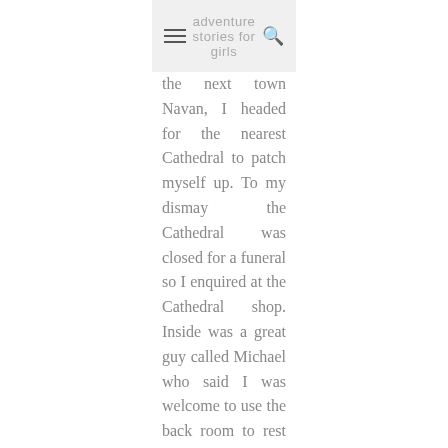adventure stories for girls
the next town Navan, I headed for the nearest Cathedral to patch myself up. To my dismay the Cathedral was closed for a funeral so I enquired at the Cathedral shop. Inside was a great guy called Michael who said I was welcome to use the back room to rest up, he even brought over a hot cup of tea. He also loved the pilgrimage idea and found it inspiring which was making the hardship all the more bearable. After parting company, I started to walk the final leg of the day to a town called Trim down the side of a busy road (it was the fastest route). The grass verge was wide so I honestly felt quite safe but a commuter lady certainly didn't. About 3 hours in to my journey I was walking